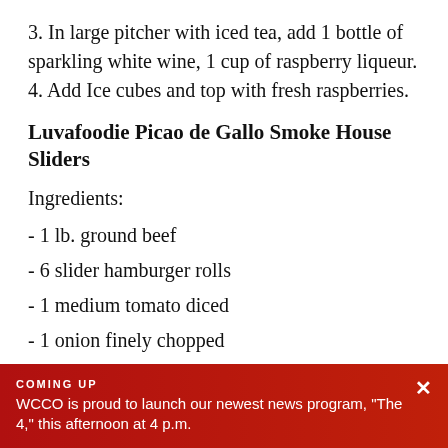3. In large pitcher with iced tea, add 1 bottle of sparkling white wine, 1 cup of raspberry liqueur. 4. Add Ice cubes and top with fresh raspberries.
Luvafoodie Picao de Gallo Smoke House Sliders
Ingredients:
- 1 lb. ground beef
- 6 slider hamburger rolls
- 1 medium tomato diced
- 1 onion finely chopped
- 1 tbsp. lime juice
- ½ jalapeno pepper, seeded and finely chopped
COMING UP WCCO is proud to launch our newest news program, "The 4," this afternoon at 4 p.m.